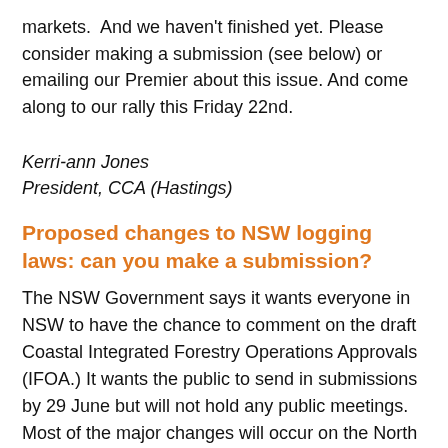markets.  And we haven't finished yet. Please consider making a submission (see below) or emailing our Premier about this issue. And come along to our rally this Friday 22nd.
Kerri-ann Jones
President, CCA (Hastings)
Proposed changes to NSW logging laws: can you make a submission?
The NSW Government says it wants everyone in NSW to have the chance to comment on the draft Coastal Integrated Forestry Operations Approvals (IFOA.) It wants the public to send in submissions by 29 June but will not hold any public meetings. Most of the major changes will occur on the North Coast from Taree to Grafton. These are all National Party electorates. Your local Member of Parliament is not holding any public meetings to explain the changes, justify them, or seek public